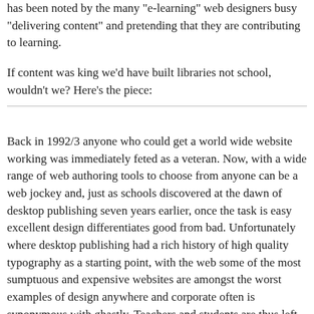has been noted by the many "e-learning" web designers busy "delivering content" and pretending that they are contributing to learning.
If content was king we'd have built libraries not school, wouldn't we? Here's the piece:
Back in 1992/3 anyone who could get a world wide website working was immediately feted as a veteran. Now, with a wide range of web authoring tools to choose from anyone can be a web jockey and, just as schools discovered at the dawn of desktop publishing seven years earlier, once the task is easy excellent design differentiates good from bad. Unfortunately where desktop publishing had a rich history of high quality typography as a starting point, with the web some of the most sumptuous and expensive websites are amongst the worst examples of design anywhere and corporate often is synonymous with ghastly. Teachers and students are thus left to plan from first principles and above all else to do so with their common sense turned on. Luckily